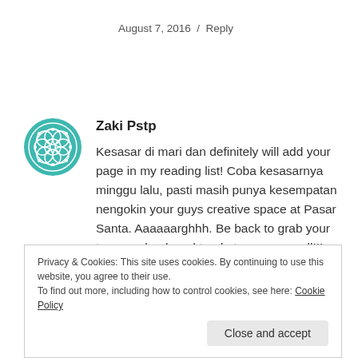August 7, 2016  /  Reply
[Figure (illustration): Teal/green decorative avatar icon with geometric pattern]
Zaki Pstp
Kesasar di mari dan definitely will add your page in my reading list! Coba kesasarnya minggu lalu, pasti masih punya kesempatan nengokin your guys creative space at Pasar Santa. Aaaaaarghhh. Be back to grab your two own book and tanda tangan as well!!! (semoga persediaan masih ada, please masih ya...)
Privacy & Cookies: This site uses cookies. By continuing to use this website, you agree to their use.
To find out more, including how to control cookies, see here: Cookie Policy
Close and accept